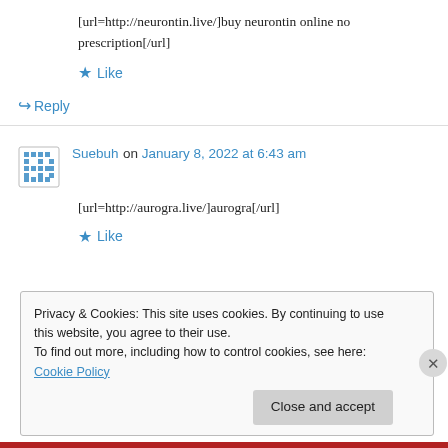[url=http://neurontin.live/]buy neurontin online no prescription[/url]
★ Like
↪ Reply
Suebuh on January 8, 2022 at 6:43 am
[url=http://aurogra.live/]aurogra[/url]
★ Like
Privacy & Cookies: This site uses cookies. By continuing to use this website, you agree to their use.
To find out more, including how to control cookies, see here: Cookie Policy
Close and accept